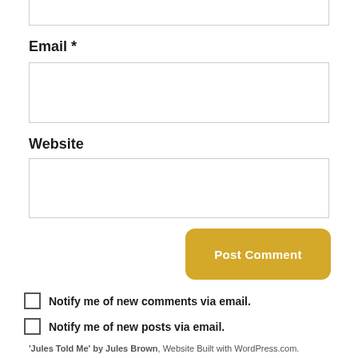Email *
Website
Post Comment
Notify me of new comments via email.
Notify me of new posts via email.
'Jules Told Me' by Jules Brown, Website Built with WordPress.com.